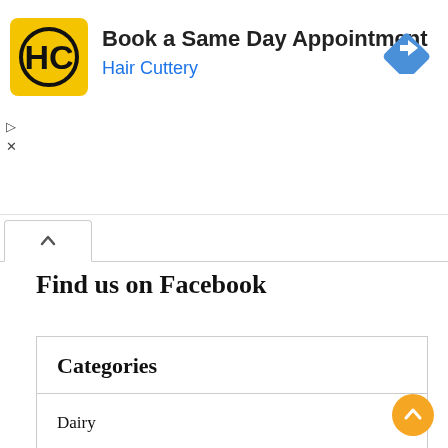[Figure (screenshot): Advertisement banner for Hair Cuttery with yellow HC logo, text 'Book a Same Day Appointment' and 'Hair Cuttery' in blue, and a blue navigation diamond icon on the right.]
[Figure (screenshot): Browser tab bar with an up-chevron tab button active.]
Find us on Facebook
| Categories |
| --- |
| Dairy |
| Drinks |
| Food |
| Fruits |
| Medicines |